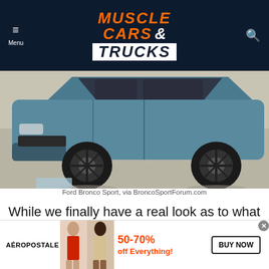[Figure (logo): Muscle Cars & Trucks website logo on dark navy background with hamburger menu and search icon]
[Figure (photo): Ford Bronco Sport in blue color, side/front view showing wheels and body, parked on concrete floor]
Ford Bronco Sport, via BroncoSportForum.com
While we finally have a real look as to what these two highly anticipated SUVs look like, we will get the full low-down before the month is over. Until then, bask in
[Figure (infographic): Aéropostale advertisement banner: two female models, 50-70% off Everything!, BUY NOW button]